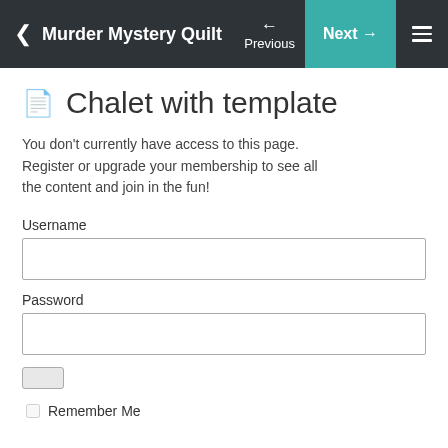Murder Mystery Quilt – Previous / Next navigation bar
Chalet with template
You don't currently have access to this page. Register or upgrade your membership to see all the content and join in the fun!
Username
Password
Remember Me